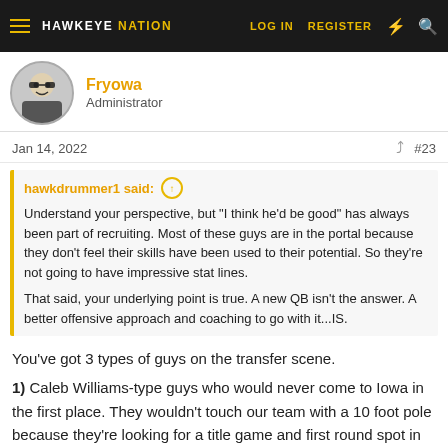HAWKEYE NATION — LOG IN  REGISTER
Fryowa
Administrator
Jan 14, 2022
#23
hawkdrummer1 said: ↑
Understand your perspective, but "I think he'd be good" has always been part of recruiting. Most of these guys are in the portal because they don't feel their skills have been used to their potential. So they're not going to have impressive stat lines.

That said, your underlying point is true. A new QB isn't the answer. A better offensive approach and coaching to go with it...IS.
You've got 3 types of guys on the transfer scene.
1) Caleb Williams-type guys who would never come to Iowa in the first place. They wouldn't touch our team with a 10 foot pole because they're looking for a title game and first round spot in the draft.